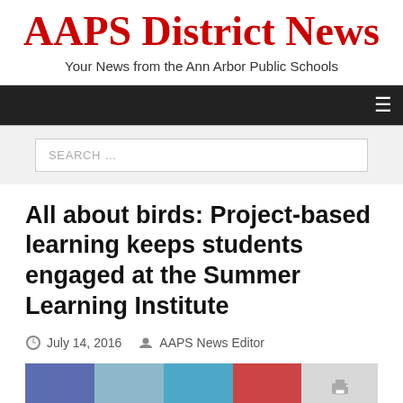AAPS District News
Your News from the Ann Arbor Public Schools
All about birds: Project-based learning keeps students engaged at the Summer Learning Institute
July 14, 2016   AAPS News Editor
[Figure (other): Social sharing buttons: Facebook, Twitter (light), Twitter, Pinterest, Print]
Students at birds: An Arbor / AAPS District...